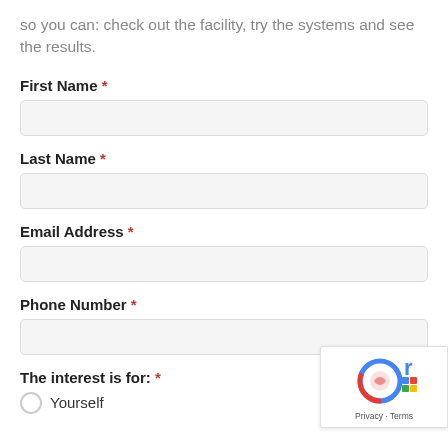so you can: check out the facility, try the systems and see the results.
First Name *
Last Name *
Email Address *
Phone Number *
The interest is for: *
Yourself